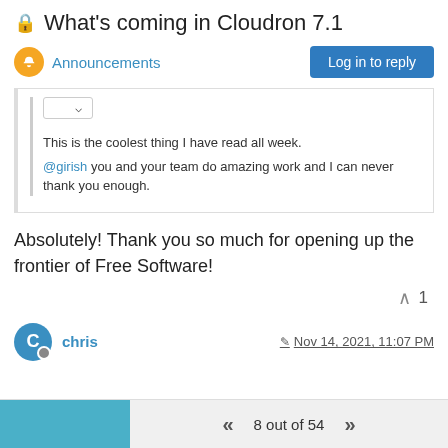🔒 What's coming in Cloudron 7.1
Announcements | Log in to reply
This is the coolest thing I have read all week. @girish you and your team do amazing work and I can never thank you enough.
Absolutely! Thank you so much for opening up the frontier of Free Software!
^ 1
chris  Nov 14, 2021, 11:07 PM
8 out of 54